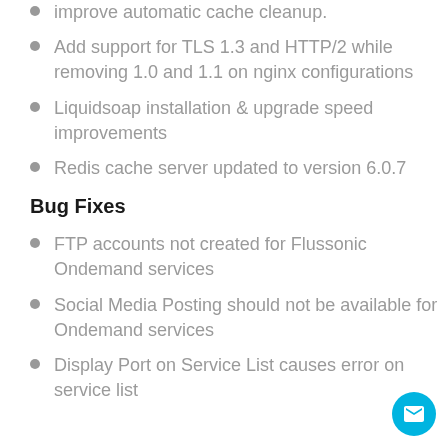improve automatic cache cleanup.
Add support for TLS 1.3 and HTTP/2 while removing 1.0 and 1.1 on nginx configurations
Liquidsoap installation & upgrade speed improvements
Redis cache server updated to version 6.0.7
Bug Fixes
FTP accounts not created for Flussonic Ondemand services
Social Media Posting should not be available for Ondemand services
Display Port on Service List causes error on service list